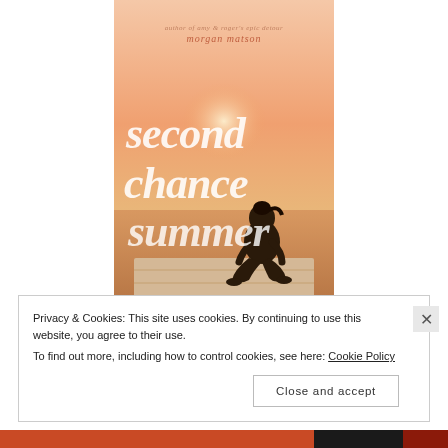[Figure (illustration): Book cover for 'Second Chance Summer' by Morgan Matson. Shows a girl sitting on a dock at sunset with warm peach/orange sky tones. Script lettering overlays the image with the title words 'second chance summer'. Author credit at top reads 'author of amy & roger's epic detour morgan matson'.]
Privacy & Cookies: This site uses cookies. By continuing to use this website, you agree to their use.
To find out more, including how to control cookies, see here: Cookie Policy
Close and accept